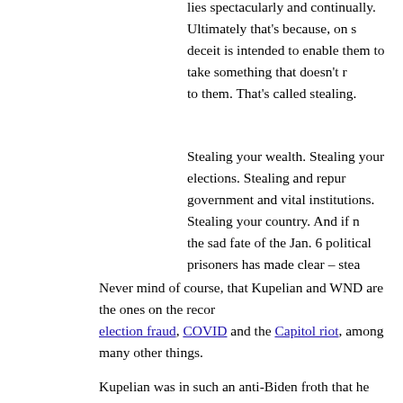Every right-thinking person recognizes that today's Democrats lies spectacularly and continually. Ultimately that's because, on s deceit is intended to enable them to take something that doesn't r to them. That's called stealing.
Stealing your wealth. Stealing your elections. Stealing and repurposing government and vital institutions. Stealing your country. And if n the sad fate of the Jan. 6 political prisoners has made clear – stealing
Never mind of course, that Kupelian and WND are the ones on the record lying about election fraud, COVID and the Capitol riot, among many other things.
Kupelian was in such an anti-Biden froth that he cranked out an April 11 him some more:
As you read these words, the Biden White House is wildly championing the cause of amputating healthy body parts of children who have been manipulated into believing they are the opposite sex from what God made them. Team Biden even wants America's taxpayers to pay for these mutilating surgeries. At the same time, a new Colorado law explicitly permits the killing of perfect, viable human babies, for any reason, right up to the very moment they emerge from their mother.
All of this new madness joins the ongoing madness – Team Biden's encouragement of a full-scale foreign invasion of America from the south, its intentional destruction of our nation's oil, coal and natural gas industries, the runaway inflation it has inflicted on the whole country, and its s